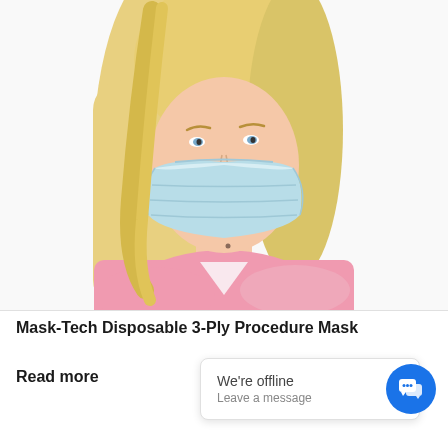[Figure (photo): A blonde woman wearing a light blue disposable 3-ply surgical face mask and pink scrubs, with arms crossed, on a white background.]
Mask-Tech Disposable 3-Ply Procedure Mask
Read more
We're offline
Leave a message